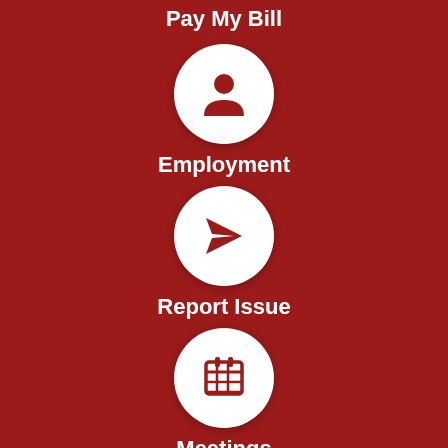Pay My Bill
[Figure (illustration): White circle with red person/employment icon]
Employment
[Figure (illustration): White circle with red paper airplane / send icon]
Report Issue
[Figure (illustration): White circle with red calendar/grid icon]
Meetings
[Figure (illustration): White circle with red speech bubble / chat icon]